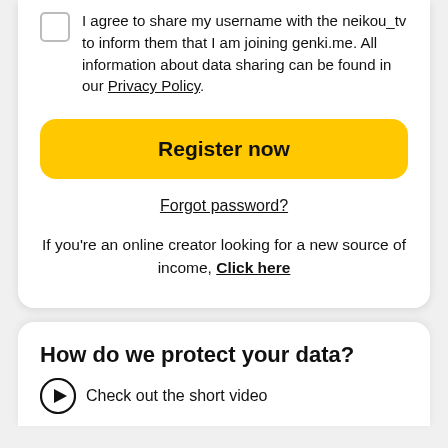I agree to share my username with the neikou_tv to inform them that I am joining genki.me. All information about data sharing can be found in our Privacy Policy.
Register now
Forgot password?
If you’re an online creator looking for a new source of income, Click here
How do we protect your data?
Check out the short video